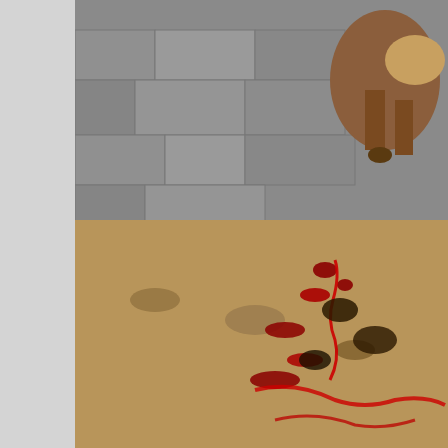[Figure (photo): A dog or animal near a stone wall with blood or red markings visible on the ground]
Report Spam  Lo
caskur™
Swing Voter
Administrator
Hero Member
[Figure (other): Star rating: 4 gold stars displayed]
Offline
Posts: 11001
[Figure (photo): Avatar photo of a person (blonde hair)]
Re: Trolls at 3rd Rail Forum
« Reply #2 on: March 16, 2016, 02:21:17 pm »
This is a representational of who they really are. People d on the inside.
[Figure (photo): Dark image with white lightning bolt or map outlines visible, appears to be a cropped/partial view of multiple images]